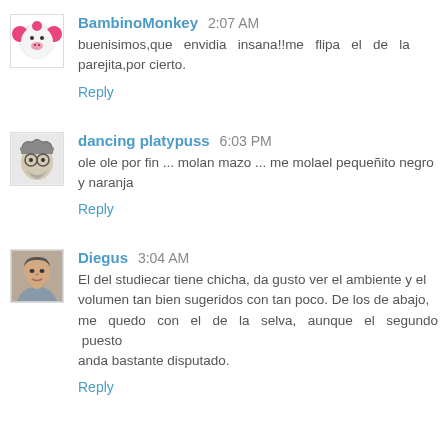BambinoMonkey 2:07 AM
buenisimos,que envidia insana!!me flipa el de la parejita,por cierto.
Reply
dancing platypuss 6:03 PM
ole ole por fin ... molan mazo ... me molael pequeñito negro y naranja
Reply
Diegus 3:04 AM
El del studiecar tiene chicha, da gusto ver el ambiente y el volumen tan bien sugeridos con tan poco. De los de abajo, me quedo con el de la selva, aunque el segundo puesto anda bastante disputado.
Reply